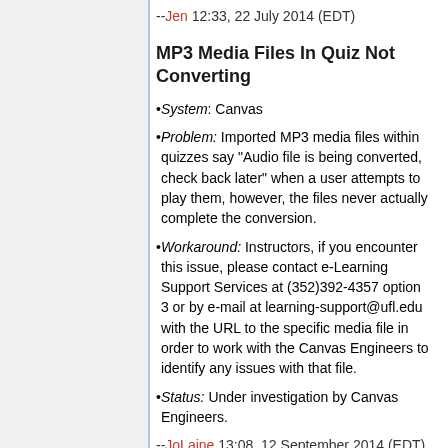--Jen 12:33, 22 July 2014 (EDT)
MP3 Media Files In Quiz Not Converting
System: Canvas
Problem: Imported MP3 media files within quizzes say "Audio file is being converted, check back later" when a user attempts to play them, however, the files never actually complete the conversion.
Workaround: Instructors, if you encounter this issue, please contact e-Learning Support Services at (352)392-4357 option 3 or by e-mail at learning-support@ufl.edu with the URL to the specific media file in order to work with the Canvas Engineers to identify any issues with that file.
Status: Under investigation by Canvas Engineers.
--JoLaine 13:08, 12 September 2014 (EDT)